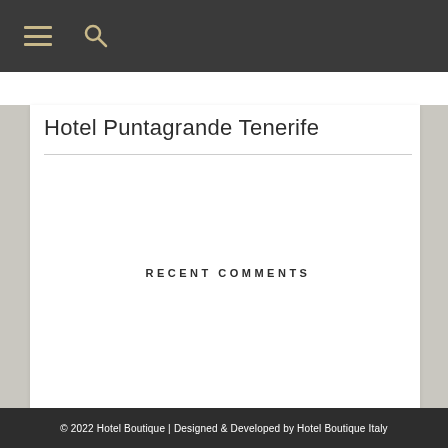≡  🔍
Hotel Puntagrande Tenerife
RECENT COMMENTS
© 2022 Hotel Boutique | Designed & Developed by Hotel Boutique Italy